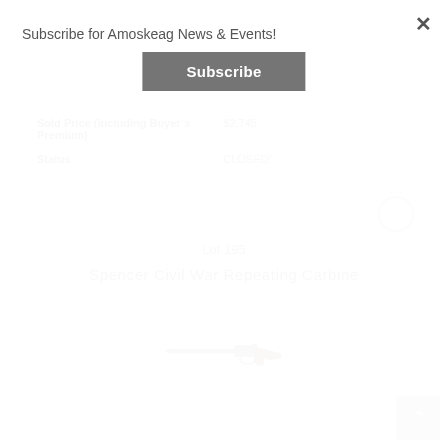Subscribe for Amoskeag News & Events!
Subscribe
| Sold Price (including Buyer`s Premium) | $2,745 |
| Status | CLOSED! |
Lot 195
Spencer Civil War Repeating Carbine
[Figure (photo): Photo of a Spencer Civil War Repeating Carbine rifle, shown in side profile with brown wooden stock and dark metal barrel.]